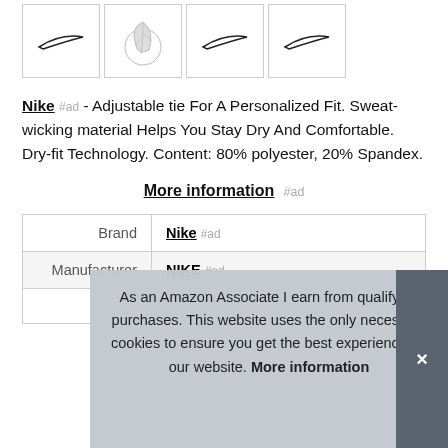[Figure (photo): Row of four product image thumbnails with Nike swoosh logos and one leaf/floral image, bordered boxes]
Nike #ad - Adjustable tie For A Personalized Fit. Sweat-wicking material Helps You Stay Dry And Comfortable. Dry-fit Technology. Content: 80% polyester, 20% Spandex.
More information #ad
|  |  |
| --- | --- |
| Brand | Nike #ad |
| Manufacturer | NIKE #ad |
|  |  |
|  |  |
| P |  |
As an Amazon Associate I earn from qualifying purchases. This website uses the only necessary cookies to ensure you get the best experience on our website. More information